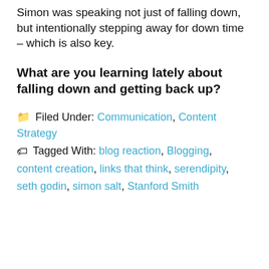Simon was speaking not just of falling down, but intentionally stepping away for down time – which is also key.
What are you learning lately about falling down and getting back up?
Filed Under: Communication, Content Strategy
Tagged With: blog reaction, Blogging, content creation, links that think, serendipity, seth godin, simon salt, Stanford Smith